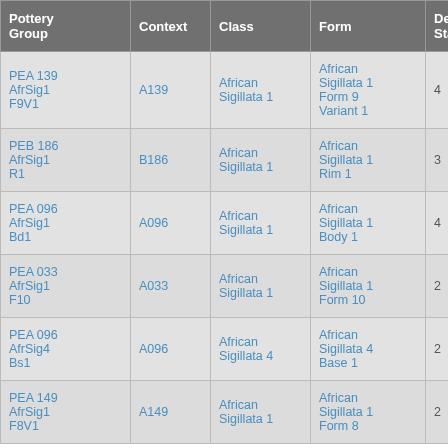| Pottery Group | Context | Class | Form | Depos Status | R Ct | R EVP |
| --- | --- | --- | --- | --- | --- | --- |
| PEA 139 AfrSig1 F9V1 | A139 | African Sigillata 1 | African Sigillata 1 Form 9 Variant 1 | 4 | 1 | 1 |
| PEB 186 AfrSig1 R1 | B186 | African Sigillata 1 | African Sigillata 1 Rim 1 | 3 | 1 |  |
| PEA 096 AfrSig1 Bd1 | A096 | African Sigillata 1 | African Sigillata 1 Body 1 | 4 |  |  |
| PEA 033 AfrSig1 F10 | A033 | African Sigillata 1 | African Sigillata 1 Form 10 | 2 | 13 | 13 |
| PEA 096 AfrSig4 Bs1 | A096 | African Sigillata 4 | African Sigillata 4 Base 1 | 2 |  |  |
| PEA 149 AfrSig1 F8V1 | A149 | African Sigillata 1 | African Sigillata 1 Form 8 | 2 | 1 | 1 |